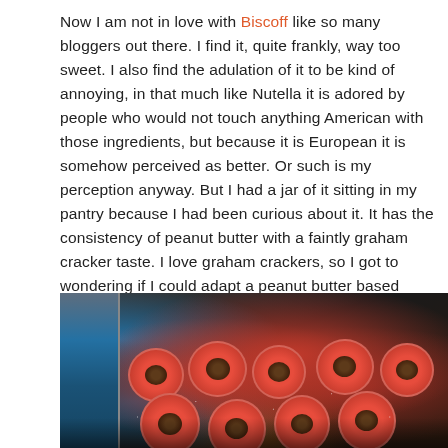Now I am not in love with Biscoff like so many bloggers out there. I find it, quite frankly, way too sweet. I also find the adulation of it to be kind of annoying, in that much like Nutella it is adored by people who would not touch anything American with those ingredients, but because it is European it is somehow perceived as better. Or such is my perception anyway. But I had a jar of it sitting in my pantry because I had been curious about it. It has the consistency of peanut butter with a faintly graham cracker taste. I love graham crackers, so I got to wondering if I could adapt a peanut butter based recipe to make a “vanilla” Biscoff-based cookie with sprinkles and chocolate in the center.
[Figure (photo): A tray of round cookies covered in red and white sprinkles with chocolate centers, photographed on a cooling rack. A blue container is visible in the background on the left.]